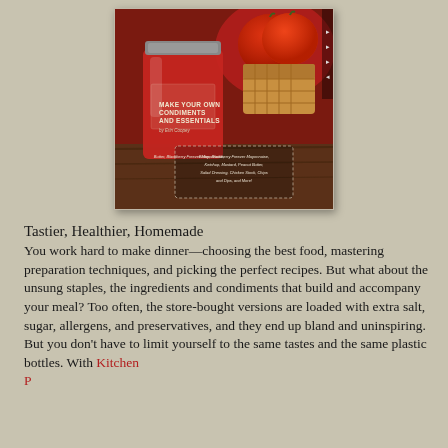[Figure (photo): Book cover for 'Make Your Own Condiments and Essentials' by Erin Coopey, showing a glass jar of red condiment, red tomatoes, and a wooden basket, with a subtitle box listing: Butter, Blackberry Freezer Mayonnaise, Ketchup, Mustard, Peanut Butter, Salad Dressing, Chicken Stock, Chips and Dips, and More!]
Tastier, Healthier, Homemade
You work hard to make dinner—choosing the best food, mastering preparation techniques, and picking the perfect recipes. But what about the unsung staples, the ingredients and condiments that build and accompany your meal? Too often, the store-bought versions are loaded with extra salt, sugar, allergens, and preservatives, and they end up bland and uninspiring. But you don't have to limit yourself to the same tastes and the same plastic bottles. With Kitchen Pantry Cookbook